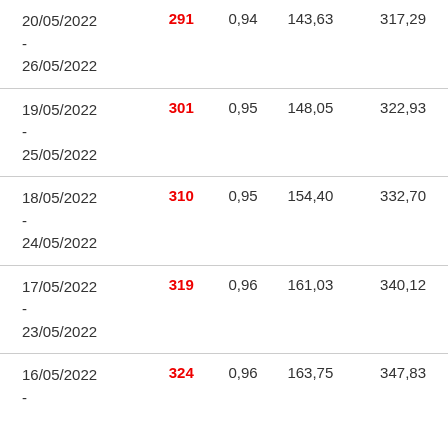| 20/05/2022 - 26/05/2022 | 291 | 0,94 | 143,63 | 317,29 |
| 19/05/2022 - 25/05/2022 | 301 | 0,95 | 148,05 | 322,93 |
| 18/05/2022 - 24/05/2022 | 310 | 0,95 | 154,40 | 332,70 |
| 17/05/2022 - 23/05/2022 | 319 | 0,96 | 161,03 | 340,12 |
| 16/05/2022 - ... | 324 | 0,96 | 163,75 | 347,83 |